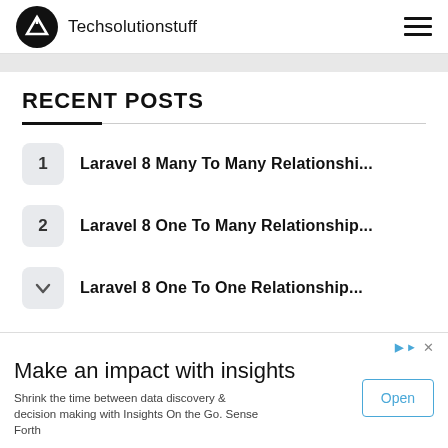Techsolutionstuff
RECENT POSTS
1  Laravel 8 Many To Many Relationshi...
2  Laravel 8 One To Many Relationship...
Laravel 8 One To One Relationship...
Make an impact with insights
Shrink the time between data discovery & decision making with Insights On the Go. Sense Forth